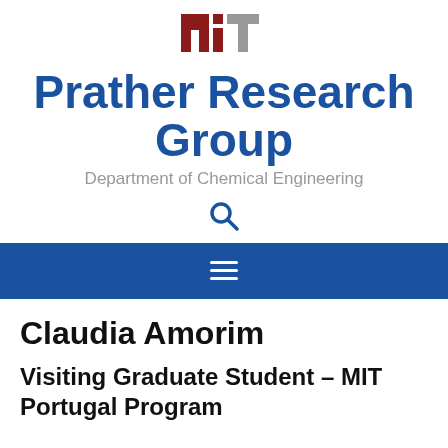[Figure (logo): MIT logo with red and gray block letters spelling MIT]
Prather Research Group
Department of Chemical Engineering
[Figure (other): Search magnifying glass icon in blue]
[Figure (other): Navigation hamburger menu icon (three white horizontal lines on blue bar)]
Claudia Amorim
Visiting Graduate Student – MIT Portugal Program